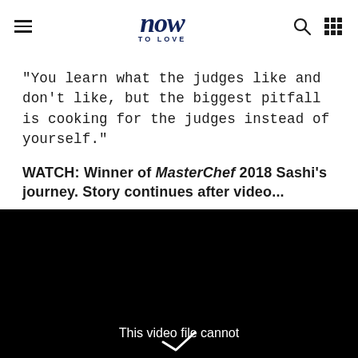now TO LOVE
"You learn what the judges like and don't like, but the biggest pitfall is cooking for the judges instead of yourself."
WATCH: Winner of MasterChef 2018 Sashi's journey. Story continues after video...
[Figure (screenshot): Black video player area with text 'This video file cannot' and a play/check icon at the bottom]